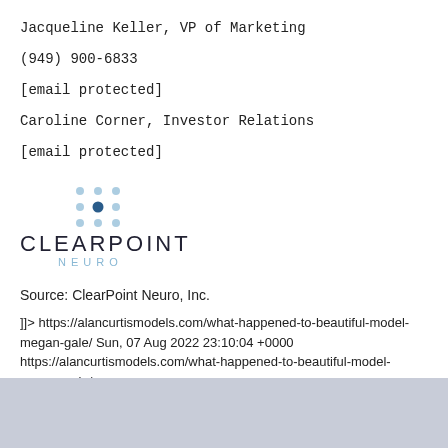Jacqueline Keller, VP of Marketing
(949) 900-6833
[email protected]
Caroline Corner, Investor Relations
[email protected]
[Figure (logo): ClearPoint Neuro logo with dot grid pattern above the text 'CLEARPOINT NEURO']
Source: ClearPoint Neuro, Inc.
]]> https://alancurtismodels.com/what-happened-to-beautiful-model-megan-gale/ Sun, 07 Aug 2022 23:10:04 +0000 https://alancurtismodels.com/what-happened-to-beautiful-model-megan-gale/